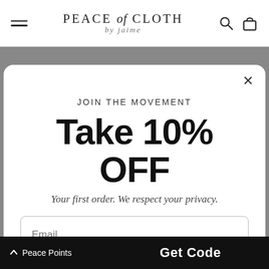PEACE of CLOTH by jaime
JOIN THE MOVEMENT
Take 10% OFF
Your first order. We respect your privacy.
Email
Get Code
^ Peace Points  Get Code